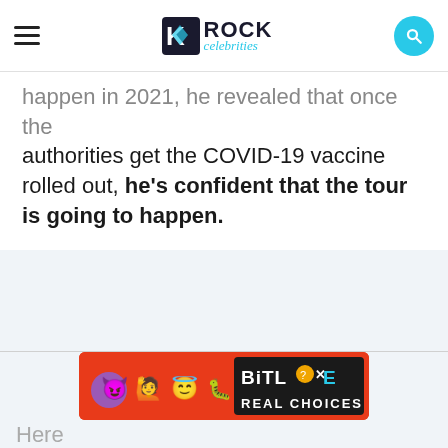ROCK celebrities
happen in 2021, he revealed that once the authorities get the COVID-19 vaccine rolled out, he's confident that the tour is going to happen.
[Figure (screenshot): BitLife Real Choices advertisement banner with emoji characters on red background]
Here